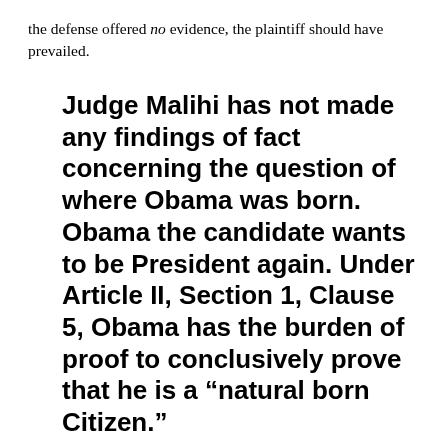the defense offered no evidence, the plaintiff should have prevailed.
Judge Malihi has not made any findings of fact concerning the question of where Obama was born. Obama the candidate wants to be President again. Under Article II, Section 1, Clause 5, Obama has the burden of proof to conclusively prove that he is a “natural born Citizen.”